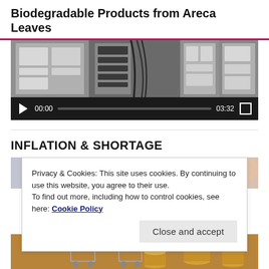Biodegradable Products from Areca Leaves
[Figure (screenshot): Video player showing industrial/commercial refrigeration equipment. Controls show play button, time 00:00, progress bar, duration 03:32, and fullscreen button on dark background.]
INFLATION & SHORTAGE
[Figure (photo): Partial view of inflation-themed image showing shopping carts and stacked coins]
Privacy & Cookies: This site uses cookies. By continuing to use this website, you agree to their use.
To find out more, including how to control cookies, see here: Cookie Policy
Close and accept